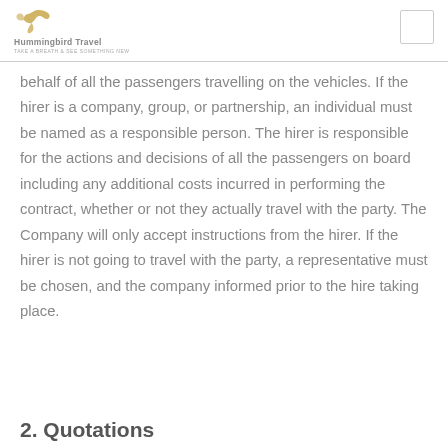Hummingbird Travel
behalf of all the passengers travelling on the vehicles. If the hirer is a company, group, or partnership, an individual must be named as a responsible person. The hirer is responsible for the actions and decisions of all the passengers on board including any additional costs incurred in performing the contract, whether or not they actually travel with the party. The Company will only accept instructions from the hirer. If the hirer is not going to travel with the party, a representative must be chosen, and the company informed prior to the hire taking place.
2. Quotations